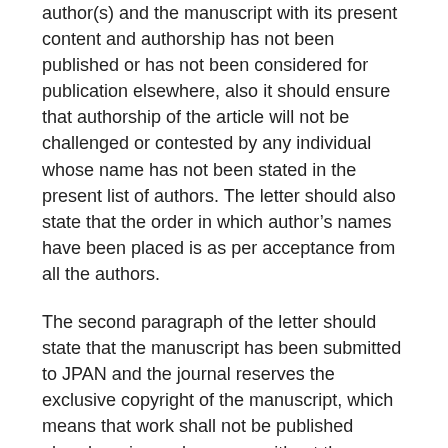author(s) and the manuscript with its present content and authorship has not been published or has not been considered for publication elsewhere, also it should ensure that authorship of the article will not be challenged or contested by any individual whose name has not been stated in the present list of authors. The letter should also state that the order in which author's names have been placed is as per acceptance from all the authors.
The second paragraph of the letter should state that the manuscript has been submitted to JPAN and the journal reserves the exclusive copyright of the manuscript, which means that work shall not be published elsewhere in any language without the written consent of JPAN. The article published is protected by copyright which covers translation rights and also right to reproduce and distribute the article printed in the journal.
The letter should be signed by all the authors in the order